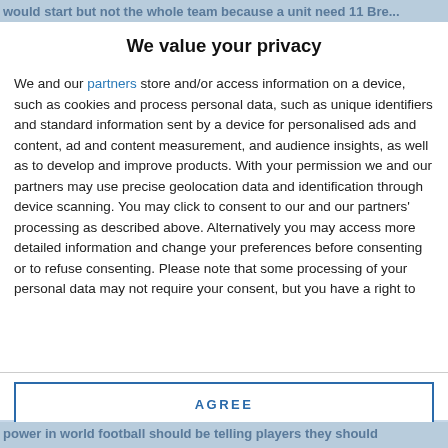would start but not the whole team because a unit need 11 Bre...
We value your privacy
We and our partners store and/or access information on a device, such as cookies and process personal data, such as unique identifiers and standard information sent by a device for personalised ads and content, ad and content measurement, and audience insights, as well as to develop and improve products. With your permission we and our partners may use precise geolocation data and identification through device scanning. You may click to consent to our and our partners' processing as described above. Alternatively you may access more detailed information and change your preferences before consenting or to refuse consenting. Please note that some processing of your personal data may not require your consent, but you have a right to
AGREE
MORE OPTIONS
power in world football should be telling players they should